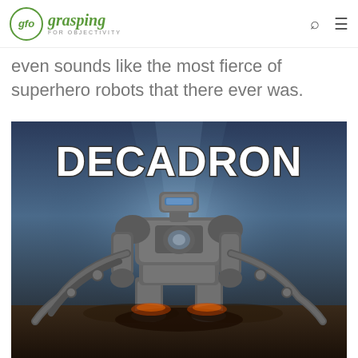gfo grasping FOR OBJECTIVITY
even sounds like the most fierce of superhero robots that there ever was.
[Figure (illustration): Book or game cover art showing a large mechanical robot/mech labeled DECADRON in bold white block letters at the top, with a detailed armored robot figure in the center against a dark atmospheric background.]